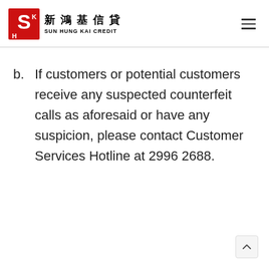新鴻基信貸 SUN HUNG KAI CREDIT
b. If customers or potential customers receive any suspected counterfeit calls as aforesaid or have any suspicion, please contact Customer Services Hotline at 2996 2688.